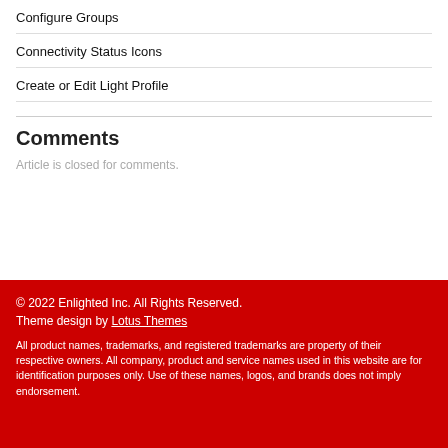Configure Groups
Connectivity Status Icons
Create or Edit Light Profile
Comments
Article is closed for comments.
© 2022 Enlighted Inc. All Rights Reserved.
Theme design by Lotus Themes

All product names, trademarks, and registered trademarks are property of their respective owners. All company, product and service names used in this website are for identification purposes only. Use of these names, logos, and brands does not imply endorsement.